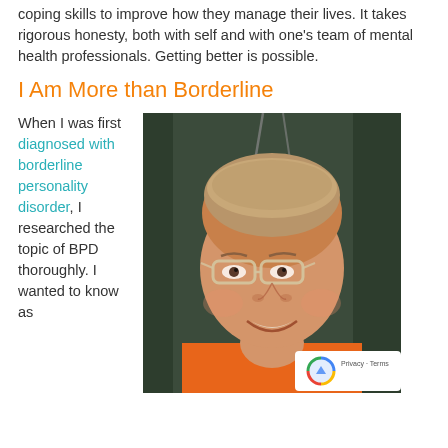coping skills to improve how they manage their lives. It takes rigorous honesty, both with self and with one's team of mental health professionals. Getting better is possible.
I Am More than Borderline
When I was first diagnosed with borderline personality disorder, I researched the topic of BPD thoroughly. I wanted to know as
[Figure (photo): A smiling woman with glasses wearing an orange top, photographed indoors against a dark background. A reCAPTCHA badge is visible in the bottom right corner.]